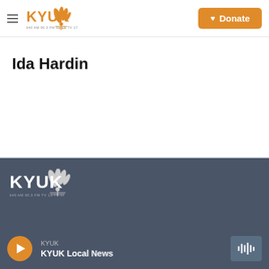KYUK — Donate
Ida Hardin
KYUK — KYUK Local News